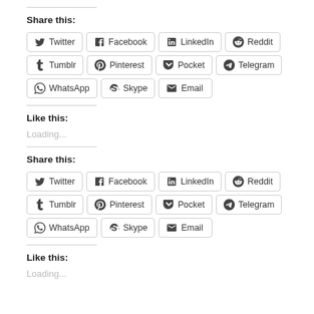Share this:
Twitter | Facebook | LinkedIn | Reddit | Tumblr | Pinterest | Pocket | Telegram | WhatsApp | Skype | Email
Like this:
Loading...
Share this:
Twitter | Facebook | LinkedIn | Reddit | Tumblr | Pinterest | Pocket | Telegram | WhatsApp | Skype | Email
Like this:
Loading...